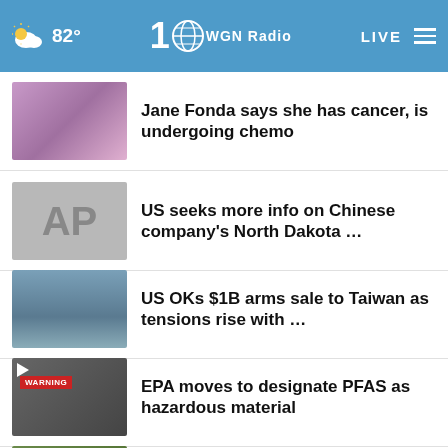82° WGN Radio LIVE
Jane Fonda says she has cancer, is undergoing chemo
US seeks more info on Chinese company's North Dakota …
US OKs $1B arms sale to Taiwan as tensions rise with …
EPA moves to designate PFAS as hazardous material
College Football Playoff to expand to 12 by 2026: …
More Stories ›